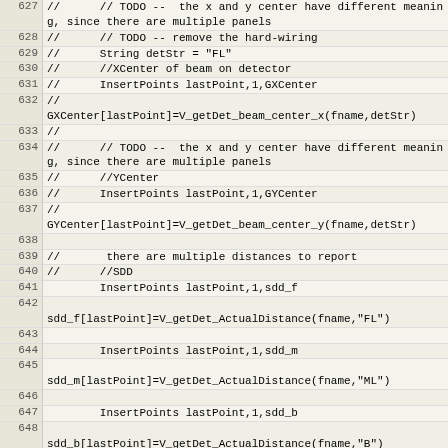Code listing lines 627-652 showing commented-out IDL/scripting code for beam center and detector distance calculations
| Line | Code |
| --- | --- |
| 627 | //      // TODO --  the x and y center have different meaning, since there are multiple panels |
| 628 | //      // TODO -- remove the hard-wiring |
| 629 | //      String detStr = "FL" |
| 630 | //      //XCenter of beam on detector |
| 631 | //      InsertPoints lastPoint,1,GXCenter |
| 632 | //
GXCenter[lastPoint]=V_getDet_beam_center_x(fname,detStr) |
| 633 | // |
| 634 | //      // TODO --  the x and y center have different meaning, since there are multiple panels |
| 635 | //      //YCenter |
| 636 | //      InsertPoints lastPoint,1,GYCenter |
| 637 | //
GYCenter[lastPoint]=V_getDet_beam_center_y(fname,detStr) |
| 638 |  |
| 639 | //       there are multiple distances to report |
| 640 | //      //SDD |
| 641 |         InsertPoints lastPoint,1,sdd_f |
| 642 | 
sdd_f[lastPoint]=V_getDet_ActualDistance(fname,"FL") |
| 643 |  |
| 644 |         InsertPoints lastPoint,1,sdd_m |
| 645 | 
sdd_m[lastPoint]=V_getDet_ActualDistance(fname,"ML") |
| 646 |  |
| 647 |         InsertPoints lastPoint,1,sdd_b |
| 648 | 
sdd_b[lastPoint]=V_getDet_ActualDistance(fname,"B") |
| 649 |  |
| 650 |         //Wavelength |
| 651 |         InsertPoints lastPoint,1,GLambda |
| 652 |         GLambda[lastPoint]=V_getWavelength(fname) |